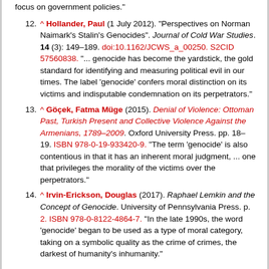focus on government policies."
12. ^ Hollander, Paul (1 July 2012). "Perspectives on Norman Naimark's Stalin's Genocides". Journal of Cold War Studies. 14 (3): 149–189. doi:10.1162/JCWS_a_00250. S2CID 57560838. "... genocide has become the yardstick, the gold standard for identifying and measuring political evil in our times. The label 'genocide' confers moral distinction on its victims and indisputable condemnation on its perpetrators."
13. ^ Göçek, Fatma Müge (2015). Denial of Violence: Ottoman Past, Turkish Present and Collective Violence Against the Armenians, 1789–2009. Oxford University Press. pp. 18–19. ISBN 978-0-19-933420-9. "The term 'genocide' is also contentious in that it has an inherent moral judgment, ... one that privileges the morality of the victims over the perpetrators."
14. ^ Irvin-Erickson, Douglas (2017). Raphael Lemkin and the Concept of Genocide. University of Pennsylvania Press. p. 2. ISBN 978-0-8122-4864-7. "In the late 1990s, the word 'genocide' began to be used as a type of moral category, taking on a symbolic quality as the crime of crimes, the darkest of humanity's inhumanity."